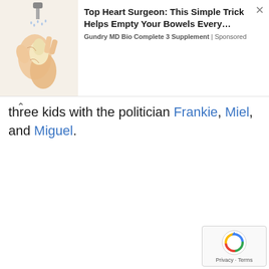[Figure (illustration): Advertisement banner showing an illustration of hands working with a garlic press/grinder, accompanied by ad text for Gundry MD Bio Complete 3 Supplement]
three kids with the politician Frankie, Miel, and Miguel.
[Figure (logo): Google reCAPTCHA widget with Privacy and Terms links]